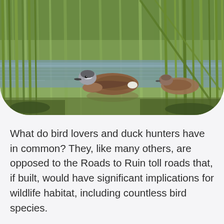[Figure (photo): Two ducks swimming in a wetland among tall green reeds/grass stems, with calm water reflecting the surroundings. One duck is in the foreground center and another is visible to the right.]
What do bird lovers and duck hunters have in common? They, like many others, are opposed to the Roads to Ruin toll roads that, if built, would have significant implications for wildlife habitat, including countless bird species.
The United Waterfowlers, Florida (UW-F)